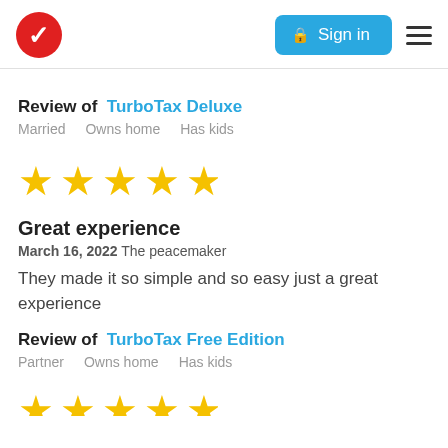Sign in
Review of TurboTax Deluxe
Married   Owns home   Has kids
[Figure (other): 5 gold stars rating]
Great experience
March 16, 2022 The peacemaker
They made it so simple and so easy just a great experience
Review of TurboTax Free Edition
Partner   Owns home   Has kids
[Figure (other): 5 gold stars rating (partially visible)]